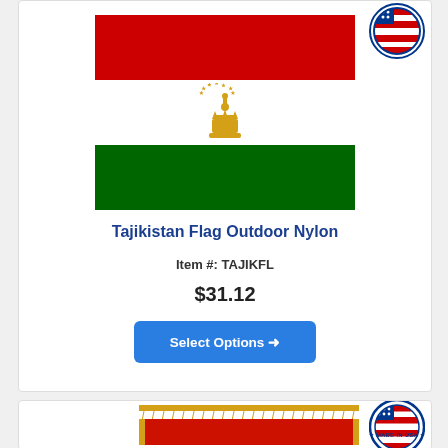[Figure (illustration): Tajikistan flag with red top stripe, white middle stripe with golden crown and stars emblem, and green bottom stripe]
[Figure (logo): Made in USA circular badge with American flag in center]
Tajikistan Flag Outdoor Nylon
Item #: TAJIKFL
$31.12
Select Options →
[Figure (logo): Made in USA circular badge with American flag in center, second product card]
[Figure (illustration): Partial view of a flag with gold fringe border, red top visible, second product]